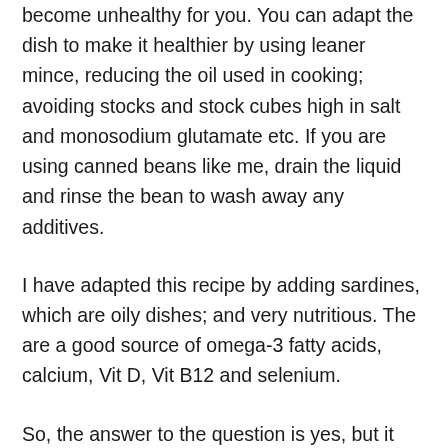become unhealthy for you. You can adapt the dish to make it healthier by using leaner mince, reducing the oil used in cooking; avoiding stocks and stock cubes high in salt and monosodium glutamate etc. If you are using canned beans like me, drain the liquid and rinse the bean to wash away any additives.
I have adapted this recipe by adding sardines, which are oily dishes; and very nutritious. The are a good source of omega-3 fatty acids, calcium, Vit D, Vit B12 and selenium.
So, the answer to the question is yes, but it